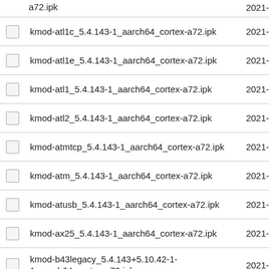a72.ipk  2021-
kmod-atl1c_5.4.143-1_aarch64_cortex-a72.ipk  2021-
kmod-atl1e_5.4.143-1_aarch64_cortex-a72.ipk  2021-
kmod-atl1_5.4.143-1_aarch64_cortex-a72.ipk  2021-
kmod-atl2_5.4.143-1_aarch64_cortex-a72.ipk  2021-
kmod-atmtcp_5.4.143-1_aarch64_cortex-a72.ipk  2021-
kmod-atm_5.4.143-1_aarch64_cortex-a72.ipk  2021-
kmod-atusb_5.4.143-1_aarch64_cortex-a72.ipk  2021-
kmod-ax25_5.4.143-1_aarch64_cortex-a72.ipk  2021-
kmod-b43legacy_5.4.143+5.10.42-1-1_aarch64_cortex-a72.ipk  2021-
kmod-b43_5.4.143+5.10.42-1-1_aarch64_cortex-a72.ipk  2021-